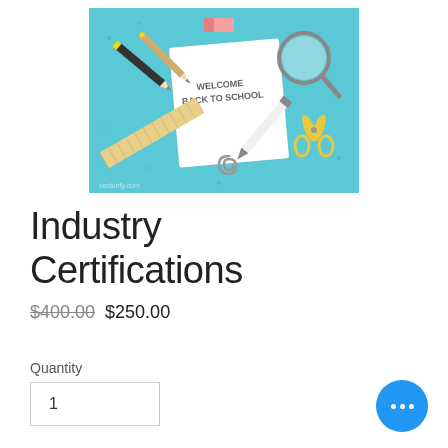[Figure (illustration): Back to school illustration with school supplies (pencils, ruler, scissors, magnifying glass, paperclip, eraser) on a teal background with a note saying WELCOME BACK TO SCHOOL]
Industry Certifications
$400.00 $250.00
Quantity
1